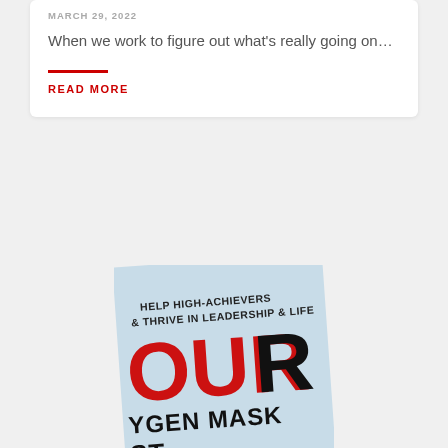MARCH 29, 2022
When we work to figure out what's really going on…
READ MORE
[Figure (photo): Book cover showing text: HELP HIGH-ACHIEVERS & THRIVE IN LEADERSHIP & LIFE, OUR OXYGEN MASK, partial view of a book cover with red and black typography on light blue background]